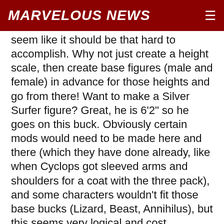MARVELOUS NEWS
seem like it should be that hard to accomplish. Why not just create a height scale, then create base figures (male and female) in advance for those heights and go from there! Want to make a Silver Surfer figure? Great, he is 6'2" so he goes on this buck. Obviously certain mods would need to be made here and there (which they have done already, like when Cyclops got sleeved arms and shoulders for a coat with the three pack), and some characters wouldn't fit those base bucks (Lizard, Beast, Annihilus), but this seems very logical and cost effective. And you mentioned the Sunfire buck - why wouldn't they just make that exact same buck in Small, Medium, and Large? Same for the